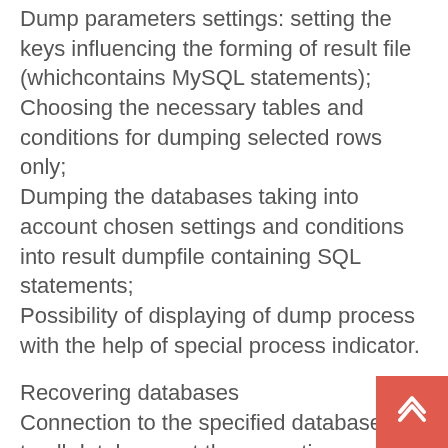Dump parameters settings: setting the keys influencing the forming of result file (whichcontains MySQL statements);
Choosing the necessary tables and conditions for dumping selected rows only;
Dumping the databases taking into account chosen settings and conditions into result dumpfile containing SQL statements;
Possibility of displaying of dump process with the help of special process indicator.
Recovering databases
Connection to the specified database or to all databases at the same time;
Saving connection parameters and keys in special files to reduce time required forconnection and parameters settings;
Choosing the necessary database, where recovery will be implemented to (only if onedatabase is recovered);
Setting recovery parameters;